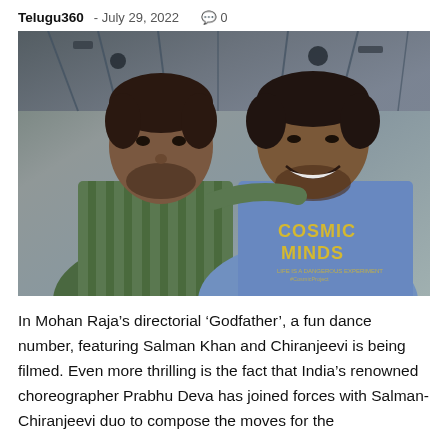Telugu360 - July 29, 2022  0
[Figure (photo): Two men posing together for a selfie indoors. The man on the left wears a green striped shirt and has a beard. The man on the right wears a light blue t-shirt with 'COSMIC MINDS' printed on it in yellow lettering. The background shows an industrial or studio ceiling with lighting equipment.]
In Mohan Raja’s directorial ‘Godfather’, a fun dance number, featuring Salman Khan and Chiranjeevi is being filmed. Even more thrilling is the fact that India’s renowned choreographer Prabhu Deva has joined forces with Salman-Chiranjeevi duo to compose the moves for the